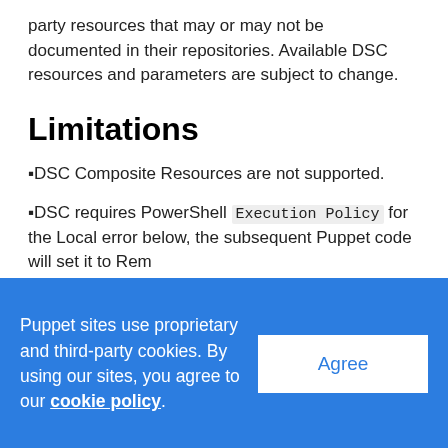party resources that may or may not be documented in their repositories. Available DSC resources and parameters are subject to change.
Limitations
▪DSC Composite Resources are not supported.
▪DSC requires PowerShell Execution Policy for the Local error below, the subsequent Puppet code will set it to Rem
Error: /Stage[main]/Main/Dsc_xgroup[testgroup]:
Puppet sites use proprietary and third-party cookies. By using our sites, you agree to our cookie policy.